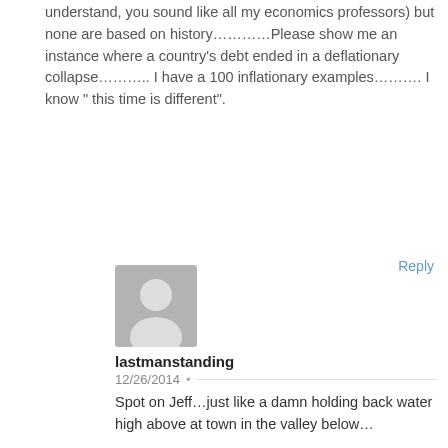understand, you sound like all my economics professors) but none are based on history…………Please show me an instance where a country's debt ended in a deflationary collapse……….. I have a 100 inflationary examples………. I know " this time is different".
Reply
[Figure (illustration): Generic grey avatar/placeholder user icon showing a silhouette of a person]
lastmanstanding
12/26/2014 •
Spot on Jeff…just like a damn holding back water high above at town in the valley below…

“it will be different his time!”